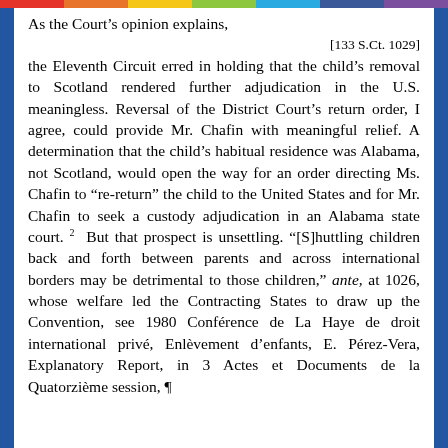As the Court's opinion explains,
[133 S.Ct. 1029]
the Eleventh Circuit erred in holding that the child's removal to Scotland rendered further adjudication in the U.S. meaningless. Reversal of the District Court's return order, I agree, could provide Mr. Chafin with meaningful relief. A determination that the child's habitual residence was Alabama, not Scotland, would open the way for an order directing Ms. Chafin to "re-return" the child to the United States and for Mr. Chafin to seek a custody adjudication in an Alabama state court. 2 But that prospect is unsettling. "[S]huttling children back and forth between parents and across international borders may be detrimental to those children," ante, at 1026, whose welfare led the Contracting States to draw up the Convention, see 1980 Conférence de La Haye de droit international privé, Enlèvement d'enfants, E. Pérez-Vera, Explanatory Report, in 3 Actes et Documents de la Quatorzième session, ¶